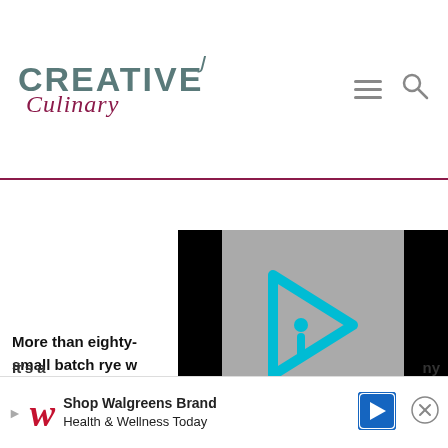[Figure (logo): Creative Culinary website logo with teal CREATIVE text, cursive red Culinary text, and a small hook/ornament above]
[Figure (infographic): Navigation icons: hamburger menu and search magnifying glass]
[Figure (screenshot): Video player thumbnail with gray background and cyan/teal play button icon (stylized triangle with i inside)]
More than eighty- small batch rye w available legally fo
[Figure (infographic): Advertisement bar: Walgreens W logo, play triangle, text Shop Walgreens Brand Health & Wellness Today, navigation arrow icon, close X button]
It's a                                                   ny